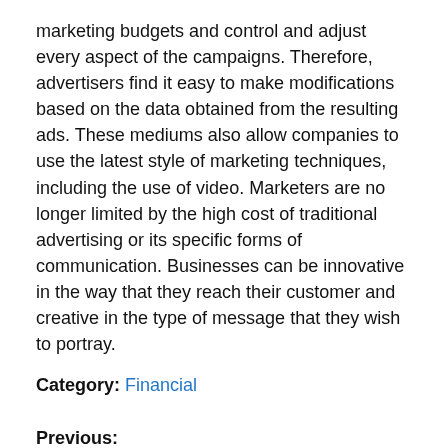marketing budgets and control and adjust every aspect of the campaigns. Therefore, advertisers find it easy to make modifications based on the data obtained from the resulting ads. These mediums also allow companies to use the latest style of marketing techniques, including the use of video. Marketers are no longer limited by the high cost of traditional advertising or its specific forms of communication. Businesses can be innovative in the way that they reach their customer and creative in the type of message that they wish to portray.
Category: Financial
Previous: Tips for Moving to a New Area
Next: